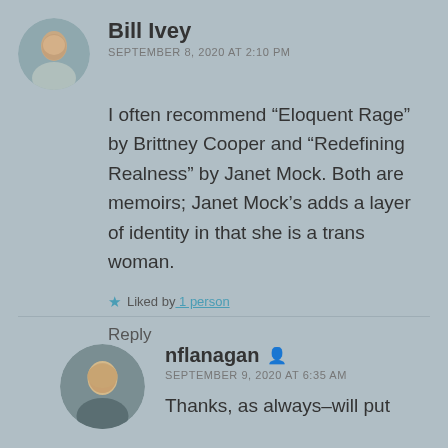[Figure (photo): Circular avatar photo of Bill Ivey, a person with short light hair]
Bill Ivey
SEPTEMBER 8, 2020 AT 2:10 PM
I often recommend “Eloquent Rage” by Brittney Cooper and “Redefining Realness” by Janet Mock. Both are memoirs; Janet Mock’s adds a layer of identity in that she is a trans woman.
★ Liked by 1 person
Reply
[Figure (photo): Circular avatar photo of nflanagan, a woman with light hair smiling]
nflanagan
SEPTEMBER 9, 2020 AT 6:35 AM
Thanks, as always–will put